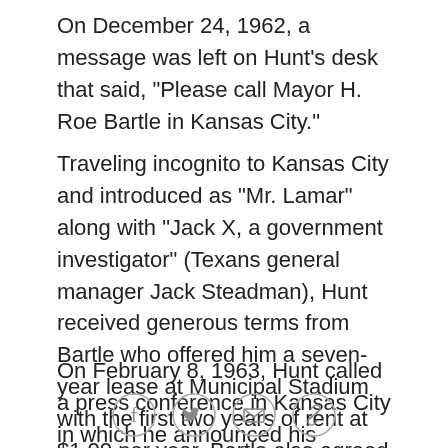On December 24, 1962, a message was left on Hunt's desk that said, "Please call Mayor H. Roe Bartle in Kansas City."
Traveling incognito to Kansas City and introduced as "Mr. Lamar" along with "Jack X, a government investigator" (Texans general manager Jack Steadman), Hunt received generous terms from Bartle who offered him a seven-year lease at Municipal Stadium with the first two years of rent at $1.00 per year. Bartle also agreed to increase the size of the stadium and build an office and practice field at Swope Park.
On February 8, 1963, Hunt called a press conference in Kansas City in which he announced his franchise's move provided the city could sell 25,000 season tickets
[Figure (other): Row of four social sharing icon circles: Facebook (f), Twitter (bird), Email (envelope), Link (chain link)]